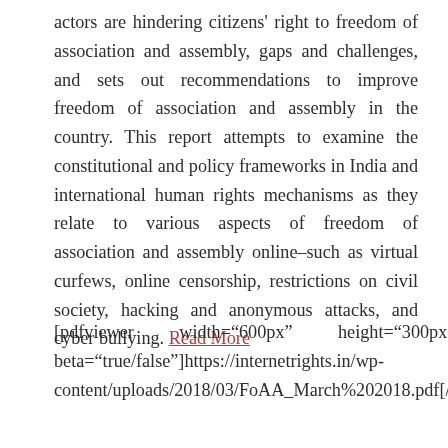actors are hindering citizens' right to freedom of association and assembly, gaps and challenges, and sets out recommendations to improve freedom of association and assembly in the country. This report attempts to examine the constitutional and policy frameworks in India and international human rights mechanisms as they relate to various aspects of freedom of association and assembly online–such as virtual curfews, online censorship, restrictions on civil society, hacking and anonymous attacks, and cyber bullying. Read More
[pdfviewer width="600px" height="300px" beta="true/false"]https://internetrights.in/wp-content/uploads/2018/03/FoAA_March%202018.pdf[/pdf